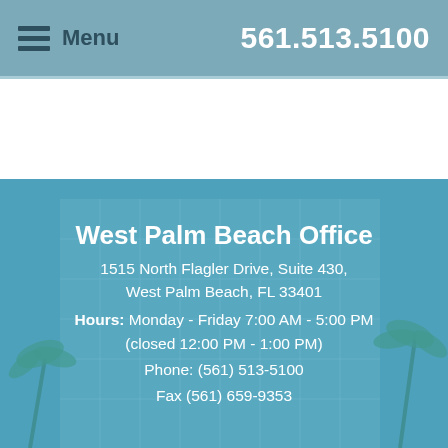Menu   561.513.5100
[Figure (photo): Blue-tinted exterior photo of a modern office building with glass facade and palm trees]
West Palm Beach Office
1515 North Flagler Drive, Suite 430, West Palm Beach, FL 33401
Hours: Monday - Friday 7:00 AM - 5:00 PM (closed 12:00 PM - 1:00 PM)
Phone: (561) 513-5100
Fax (561) 659-9353